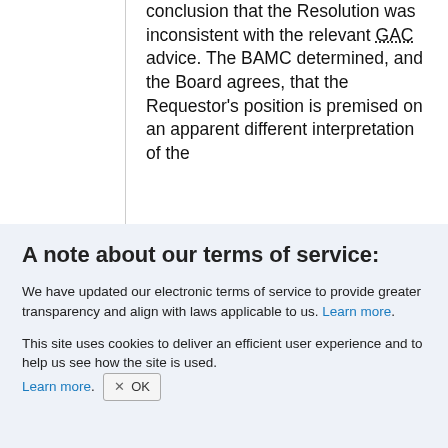conclusion that the Resolution was inconsistent with the relevant GAC advice. The BAMC determined, and the Board agrees, that the Requestor's position is premised on an apparent different interpretation of the
A note about our terms of service:
We have updated our electronic terms of service to provide greater transparency and align with laws applicable to us. Learn more.
This site uses cookies to deliver an efficient user experience and to help us see how the site is used. Learn more.